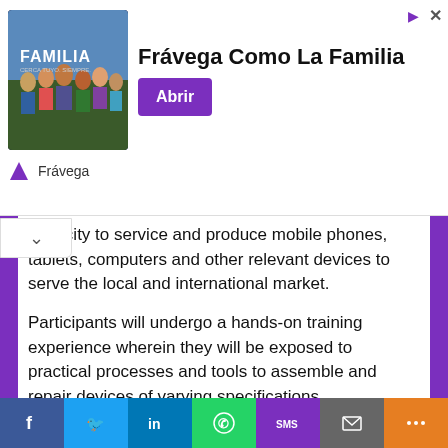[Figure (other): Advertisement banner for Frávega Como La Familia with image of people, title text, and purple Abrir button]
capacity to service and produce mobile phones, tablets, computers and other relevant devices to serve the local and international market.
Participants will undergo a hands-on training experience wherein they will be exposed to practical processes and tools to assemble and repair devices of varying specifications.
At the end often program, participants will be armed with the requisite technical skills to service devices in there local communities as well as work in a device assembly plant